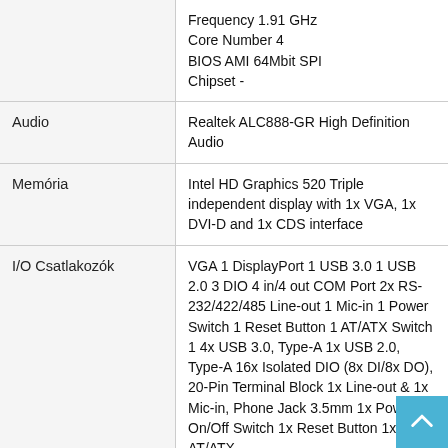|  |  |
| --- | --- |
|  | Frequency 1.91 GHz
Core Number 4
BIOS AMI 64Mbit SPI
Chipset - |
| Audio | Realtek ALC888-GR High Definition Audio |
| Memória | Intel HD Graphics 520 Triple independent display with 1x VGA, 1x DVI-D and 1x CDS interface |
| I/O Csatlakozók | VGA 1 DisplayPort 1 USB 3.0 1 USB 2.0 3 DIO 4 in/4 out COM Port 2x RS-232/422/485 Line-out 1 Mic-in 1 Power Switch 1 Reset Button 1 AT/ATX Switch 1 4x USB 3.0, Type-A 1x USB 2.0, Type-A 16x Isolated DIO (8x DI/8x DO), 20-Pin Terminal Block 1x Line-out & 1x Mic-in, Phone Jack 3.5mm 1x Power On/Off Switch 1x Reset Button 1x AT/ATX |